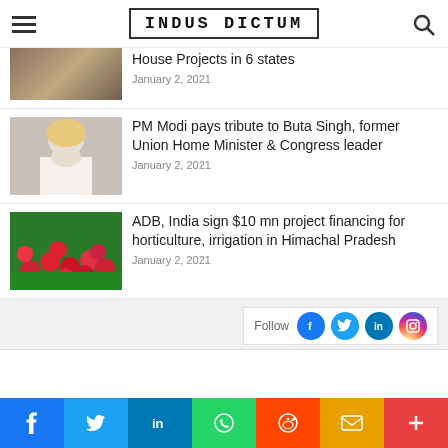INDUS DICTUM
House Projects in 6 states
January 2, 2021
PM Modi pays tribute to Buta Singh, former Union Home Minister & Congress leader
January 2, 2021
ADB, India sign $10 mn project financing for horticulture, irrigation in Himachal Pradesh
January 2, 2021
Follow